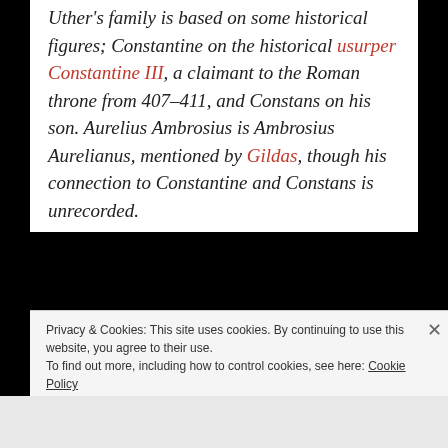Uther's family is based on some historical figures; Constantine on the historical usurper Constantine III, a claimant to the Roman throne from 407–411, and Constans on his son. Aurelius Ambrosius is Ambrosius Aurelianus, mentioned by Gildas, though his connection to Constantine and Constans is unrecorded.
Privacy & Cookies: This site uses cookies. By continuing to use this website, you agree to their use. To find out more, including how to control cookies, see here: Cookie Policy
Close and accept